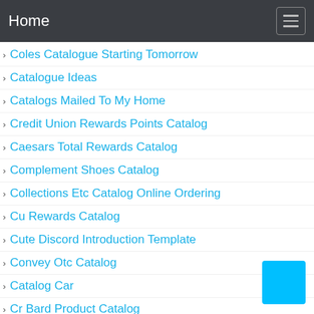Home
Coles Catalogue Starting Tomorrow
Catalogue Ideas
Catalogs Mailed To My Home
Credit Union Rewards Points Catalog
Caesars Total Rewards Catalog
Complement Shoes Catalog
Collections Etc Catalog Online Ordering
Cu Rewards Catalog
Cute Discord Introduction Template
Convey Otc Catalog
Catalog Car
Cr Bard Product Catalog